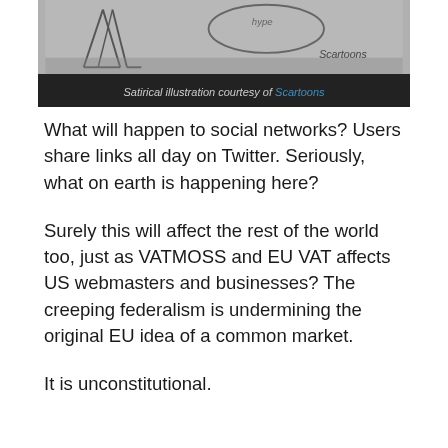[Figure (illustration): Sketch/cartoon illustration in grayscale, partially cropped at top, with dark background bar at bottom.]
Satirical illustration courtesy of Scartoons
What will happen to social networks? Users share links all day on Twitter. Seriously, what on earth is happening here?
Surely this will affect the rest of the world too, just as VATMOSS and EU VAT affects US webmasters and businesses? The creeping federalism is undermining the original EU idea of a common market.
It is unconstitutional.